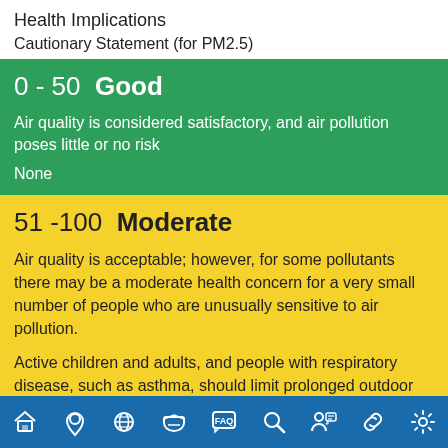Health Implications
Cautionary Statement (for PM2.5)
0 - 50  Good
Air quality is considered satisfactory, and air pollution poses little or no risk
None
51 -100  Moderate
Air quality is acceptable; however, for some pollutants there may be a moderate health concern for a very small number of people who are unusually sensitive to air pollution.
Active children and adults, and people with respiratory disease, such as asthma, should limit prolonged outdoor exertion.
Navigation bar with icons: home, location, globe, mask, FAQ, search, person, link, settings